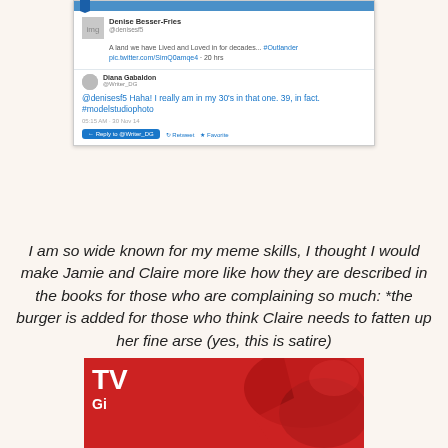[Figure (screenshot): Screenshot of a Twitter exchange. Denise Besser-Fries (@denisesf5) posted about a land they've lived and loved in for decades with #Outlander link. Diana Gabaldon (@Writer_DG) replied: '@denisesf5 Haha! I really am in my 30's in that one. 39, in fact. #modelstudiophoto']
I am so wide known for my meme skills, I thought I would make Jamie and Claire more like how they are described in the books for those who are complaining so much: *the burger is added for those who think Claire needs to fatten up her fine arse (yes, this is satire)
[Figure (photo): Partial TV Guide magazine cover with red background showing 'TV Gi...' text and some illustrated imagery]